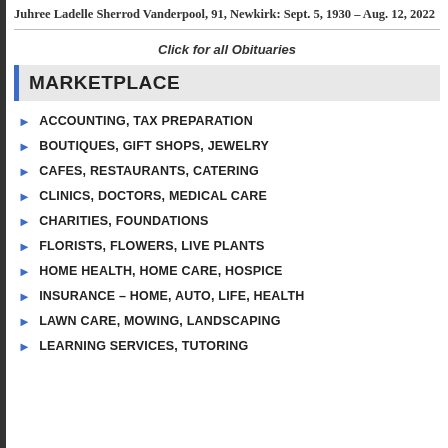Juhree Ladelle Sherrod Vanderpool, 91, Newkirk: Sept. 5, 1930 – Aug. 12, 2022
Click for all Obituaries
MARKETPLACE
ACCOUNTING, TAX PREPARATION
BOUTIQUES, GIFT SHOPS, JEWELRY
CAFES, RESTAURANTS, CATERING
CLINICS, DOCTORS, MEDICAL CARE
CHARITIES, FOUNDATIONS
FLORISTS, FLOWERS, LIVE PLANTS
HOME HEALTH, HOME CARE, HOSPICE
INSURANCE – HOME, AUTO, LIFE, HEALTH
LAWN CARE, MOWING, LANDSCAPING
LEARNING SERVICES, TUTORING